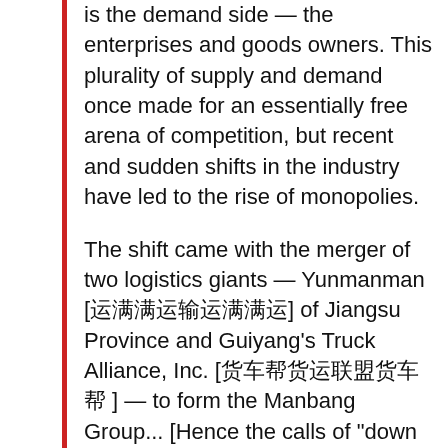is the demand side — the enterprises and goods owners. This plurality of supply and demand once made for an essentially free arena of competition, but recent and sudden shifts in the industry have led to the rise of monopolies.
The shift came with the merger of two logistics giants — Yunmanman [运满满运输] of Jiangsu Province and Guiyang's Truck Alliance, Inc. [货车帮货运联盟] — to form the Manbang Group... [Hence the calls of "down with Huochebang", mis-reported in some places as "down with gongchandang [communist party]
The merger of Yunmanman with Trucking Alliance Inc. brought about a fundamental change in industrial relations within the logistics sector. First, Manbang introduced an annual fee of somewhere